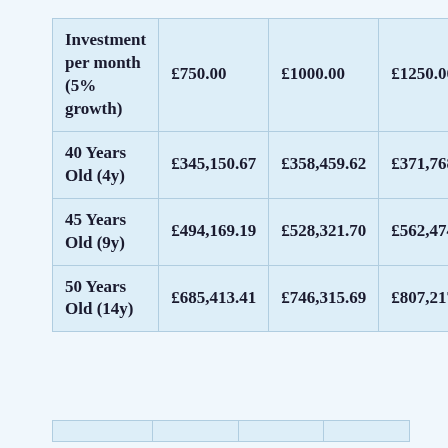| Investment per month (5% growth) | £750.00 | £1000.00 | £1250.00 |
| --- | --- | --- | --- |
| 40 Years Old (4y) | £345,150.67 | £358,459.62 | £371,768.56 |
| 45 Years Old (9y) | £494,169.19 | £528,321.70 | £562,474.22 |
| 50 Years Old (14y) | £685,413.41 | £746,315.69 | £807,217.97 |